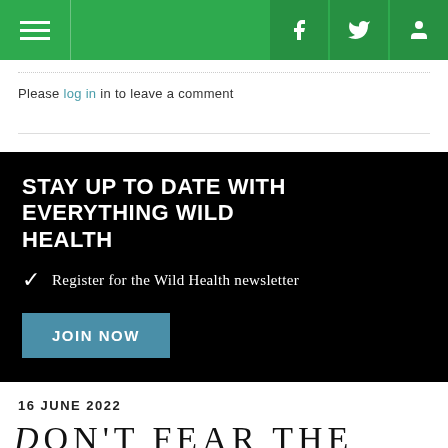Navigation bar with hamburger menu, Facebook, Twitter, and user account icons
Please log in in to leave a comment
STAY UP TO DATE WITH EVERYTHING WILD HEALTH
Register for the Wild Health newsletter
JOIN NOW
16 JUNE 2022
Don't fear the